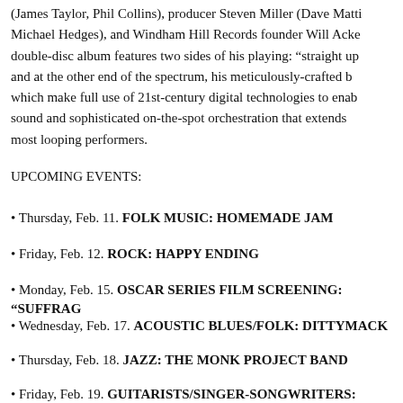(James Taylor, Phil Collins), producer Steven Miller (Dave Matti Michael Hedges), and Windham Hill Records founder Will Acke double-disc album features two sides of his playing: "straight up and at the other end of the spectrum, his meticulously-crafted b which make full use of 21st-century digital technologies to enab sound and sophisticated on-the-spot orchestration that extends most looping performers.
UPCOMING EVENTS:
• Thursday, Feb. 11. FOLK MUSIC: HOMEMADE JAM
• Friday, Feb. 12. ROCK: HAPPY ENDING
• Monday, Feb. 15. OSCAR SERIES FILM SCREENING: “SUFFRAG…
• Wednesday, Feb. 17. ACOUSTIC BLUES/FOLK: DITTYMACK
• Thursday, Feb. 18. JAZZ: THE MONK PROJECT BAND
• Friday, Feb. 19. GUITARISTS/SINGER-SONGWRITERS: RANDY C…